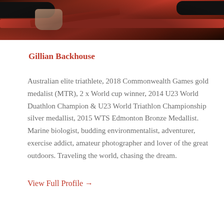[Figure (photo): Partial photo of a person holding a red bicycle handlebar, cropped to show mostly the bike and hands against a blurred background.]
Gillian Backhouse
Australian elite triathlete, 2018 Commonwealth Games gold medalist (MTR), 2 x World cup winner, 2014 U23 World Duathlon Champion & U23 World Triathlon Championship silver medallist, 2015 WTS Edmonton Bronze Medallist. Marine biologist, budding environmentalist, adventurer, exercise addict, amateur photographer and lover of the great outdoors. Traveling the world, chasing the dream.
View Full Profile →